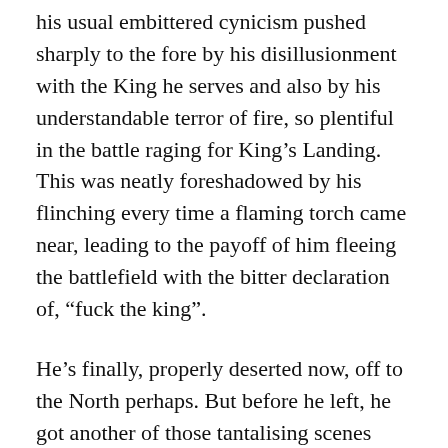his usual embittered cynicism pushed sharply to the fore by his disillusionment with the King he serves and also by his understandable terror of fire, so plentiful in the battle raging for King's Landing. This was neatly foreshadowed by his flinching every time a flaming torch came near, leading to the payoff of him fleeing the battlefield with the bitter declaration of, “fuck the king”.
He’s finally, properly deserted now, off to the North perhaps. But before he left, he got another of those tantalising scenes with Sansa, highlighting their weird little relationship. Popping up in her bedroom, he invited her to come with him, promising to take her ‘home’ to Winterfell. Of course, with Winterfell